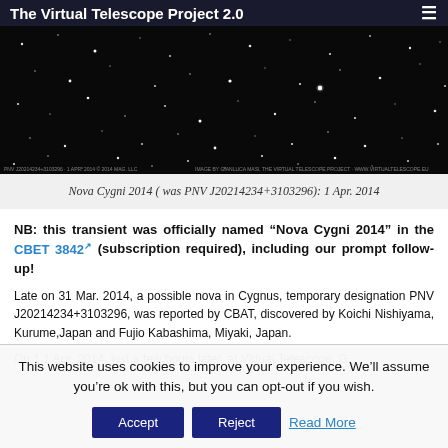The Virtual Telescope Project 2.0
[Figure (photo): Astronomical image of Nova Cygni 2014 (PNV J20214234+3103296) showing stars against a dark sky background, taken on 1 Apr. 2014 by Gianluca Masi, The Virtual Telescope Project]
Nova Cygni 2014 ( was PNV J20214234+3103296): 1 Apr. 2014
NB: this transient was officially named “Nova Cygni 2014” in the CBET 3842 (subscription required), including our prompt follow-up!
Late on 31 Mar. 2014, a possible nova in Cygnus, temporary designation PNV J20214234+3103296, was reported by CBAT, discovered by Koichi Nishiyama, Kurume,Japan and Fujio Kabashima, Miyaki, Japan.
On 1.1 Apr. 2014, just a few hours later, at Virtual Telescope, G.
This website uses cookies to improve your experience. We’ll assume you’re ok with this, but you can opt-out if you wish.
Accept | Reject | Read More